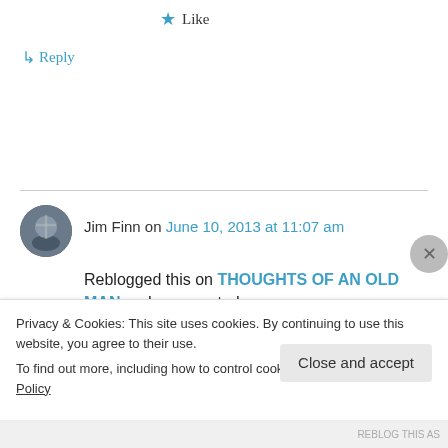★ Like
↳ Reply
Jim Finn on June 10, 2013 at 11:07 am
Reblogged this on THOUGHTS OF AN OLD MAN and commented:
VERY REFRESHING
Privacy & Cookies: This site uses cookies. By continuing to use this website, you agree to their use.
To find out more, including how to control cookies, see here: Cookie Policy
Close and accept